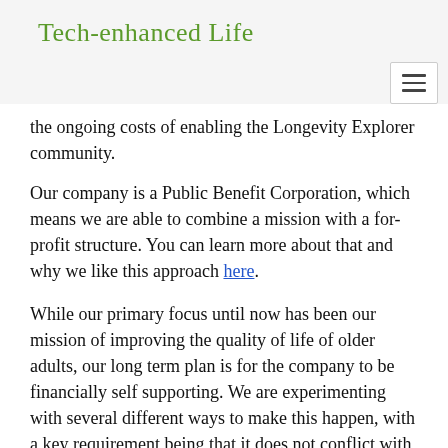Tech-enhanced Life
the ongoing costs of enabling the Longevity Explorer community.
Our company is a Public Benefit Corporation, which means we are able to combine a mission with a for-profit structure. You can learn more about that and why we like this approach here.
While our primary focus until now has been our mission of improving the quality of life of older adults, our long term plan is for the company to be financially self supporting. We are experimenting with several different ways to make this happen, with a key requirement being that it does not conflict with our goal of doing independent objective research.